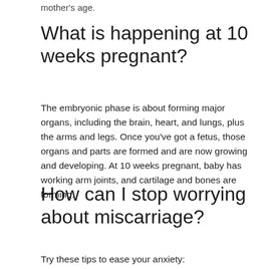mother's age.
What is happening at 10 weeks pregnant?
The embryonic phase is about forming major organs, including the brain, heart, and lungs, plus the arms and legs. Once you've got a fetus, those organs and parts are formed and are now growing and developing. At 10 weeks pregnant, baby has working arm joints, and cartilage and bones are forming.
How can I stop worrying about miscarriage?
Try these tips to ease your anxiety: